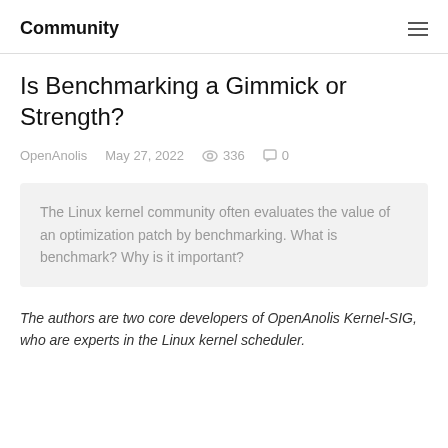Community
Is Benchmarking a Gimmick or Strength?
OpenAnolis   May 27, 2022   336   0
The Linux kernel community often evaluates the value of an optimization patch by benchmarking. What is benchmark? Why is it important?
The authors are two core developers of OpenAnolis Kernel-SIG, who are experts in the Linux kernel scheduler.